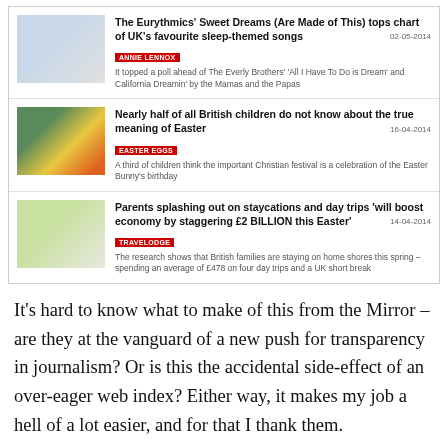[Figure (screenshot): News listing widget showing three articles: 1) The Eurythmics' Sweet Dreams article tagged ANNIE LENNOX dated 02-05-2014, 2) Easter article tagged EASTER EGGS dated 16-04-2014, 3) Travelodge staycations article tagged TRAVELODGE dated 14-04-2014]
It's hard to know what to make of this from the Mirror – are they at the vanguard of a new push for transparency in journalism? Or is this the accidental side-effect of an over-eager web index? Either way, it makes my job a hell of a lot easier, and for that I thank them.
This entry was posted in Travelodge and tagged corinne sweet,